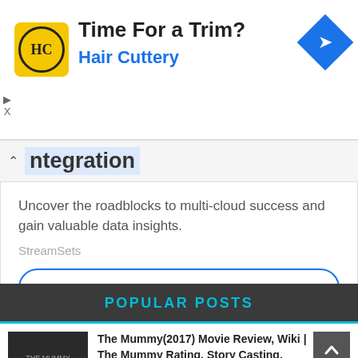[Figure (photo): Hair Cuttery advertisement banner with HC logo, 'Time For a Trim?' headline, 'Hair Cuttery' subtext in blue, and a blue navigation diamond icon]
ntegration
Uncover the roadblocks to multi-cloud success and gain valuable data insights.
StreamSets
Open
POPULAR POSTS
The Mummy(2017) Movie Review, Wiki | The Mummy Rating, Story Casting, Trailers | Alex Kurtzman, Tom Cruise, Sofia Boutella Latest